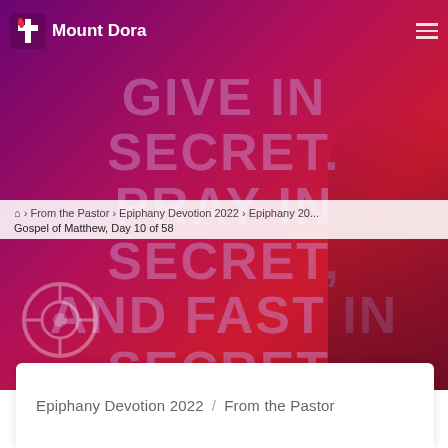[Figure (screenshot): Church website screenshot with purple-to-red gradient hero image showing large text overlay: GIVE IN SECRET. PRAY IN SECRET. AND FAST IN SECRET. MAY YOUR MOTIVE ALWAYS BE TO PLEASE GOD. Mount Dora United Methodist Church logo in top-left with navigation hamburger menu.]
Mount Dora
From the Pastor > Epiphany Devotion 2022 > Epiphany 202...
Gospel of Matthew, Day 10 of 58
GIVE IN SECRET. PRAY IN SECRET. AND FAST IN SECRET. MAY YOUR MOTIVE ALWAYS BE TO PLEASE GOD
Epiphany Devotion 2022  /  From the Pastor